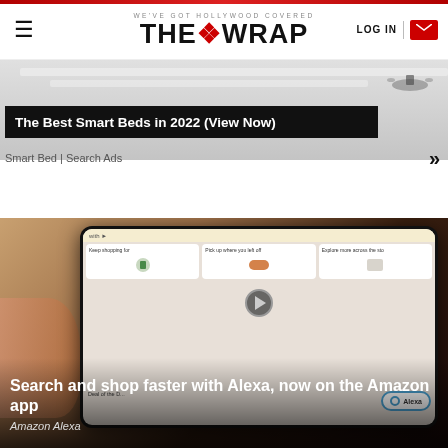WE'VE GOT HOLLYWOOD COVERED | THE WRAP | LOG IN
[Figure (photo): Advertisement banner for Smart Beds 2022 with gray background]
The Best Smart Beds in 2022 (View Now)
Smart Bed | Search Ads
[Figure (photo): Amazon app on smartphone showing shopping categories: Keep shopping for, Pick up where you left off, Explore more across the store, with Alexa button visible. Play button overlay on center of phone screen.]
Search and shop faster with Alexa, now on the Amazon app
Amazon Alexa